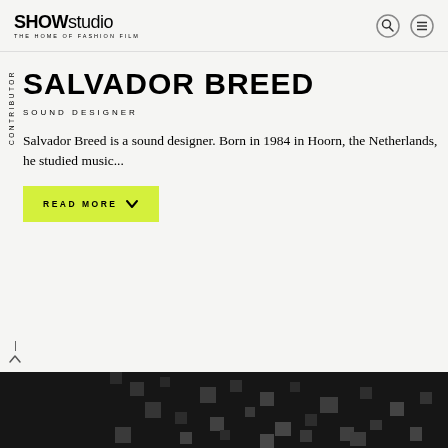SHOWstudio THE HOME OF FASHION FILM
CONTRIBUTOR
SALVADOR BREED
SOUND DESIGNER
Salvador Breed is a sound designer. Born in 1984 in Hoorn, the Netherlands, he studied music...
READ MORE
[Figure (photo): Dark pixelated/blurred image at bottom of page, appears to be a dark photograph with square pixel-like patterns]